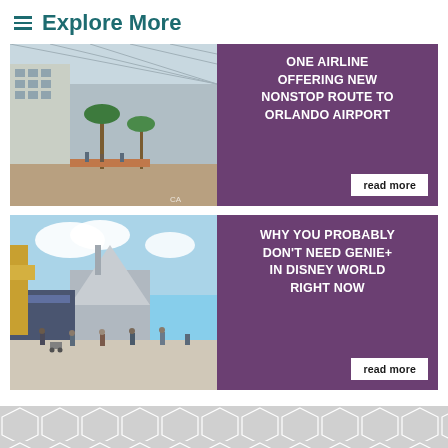Explore More
[Figure (photo): Interior of Orlando airport atrium with palm trees, seating areas, and glass roof]
ONE AIRLINE OFFERING NEW NONSTOP ROUTE TO ORLANDO AIRPORT
read more
[Figure (photo): Disney World Tomorrowland area with crowds of visitors and futuristic architecture]
WHY YOU PROBABLY DON'T NEED GENIE+ IN DISNEY WORLD RIGHT NOW
read more